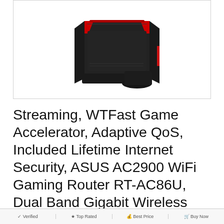[Figure (photo): ASUS RT-AC86U gaming router, black with red accents, shown upright against white background inside a bordered product image box]
Streaming, WTFast Game Accelerator, Adaptive QoS, Included Lifetime Internet Security, ASUS AC2900 WiFi Gaming Router RT-AC86U, Dual Band Gigabit Wireless Internet Router, Ai...
#ad
As an Amazon Associate I earn from qualifying purchases. This website uses the only necessary cookies to ensure you get the best experience on our website. More information